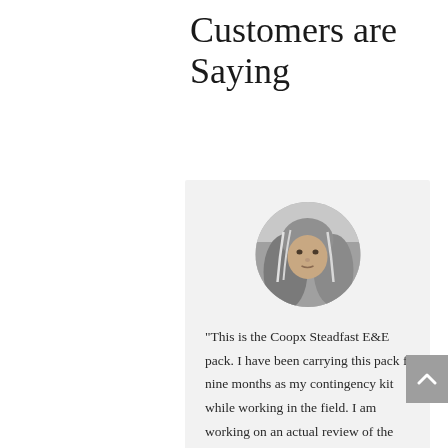Customers are Saying
[Figure (photo): Circular portrait photo of a person with long gray-streaked hair, shown in a light gray testimonial card]
“This is the Coopx Steadfast E&E pack. I have been carrying this pack for nine months as my contingency kit while working in the field. I am working on an actual review of the pack soon,